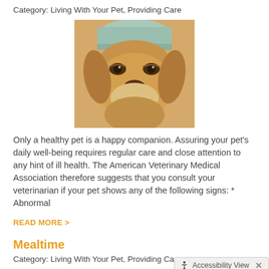Category: Living With Your Pet, Providing Care
[Figure (photo): Close-up photo of a golden retriever dog with a sad/sick expression, wearing a light blue knit hat, lying down on white background.]
Only a healthy pet is a happy companion. Assuring your pet's daily well-being requires regular care and close attention to any hint of ill health. The American Veterinary Medical Association therefore suggests that you consult your veterinarian if your pet shows any of the following signs: * Abnormal
READ MORE >
Mealtime
Category: Living With Your Pet, Providing Care